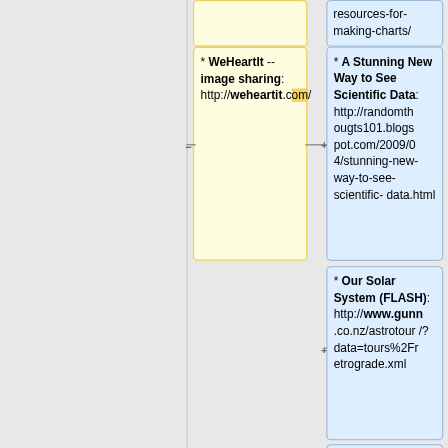resources-for-making-charts/
* WeHeartIt -- image sharing: http://weheartit.com/
* A Stunning New Way to See Scientific Data: http://randomthougts101.blogspot.com/2009/04/stunning-new-way-to-see-scientific-data.html
* Our Solar System (FLASH): http://www.gunn.co.nz/astrotour/?data=tours%2Fretrograde.xml
* Satellite